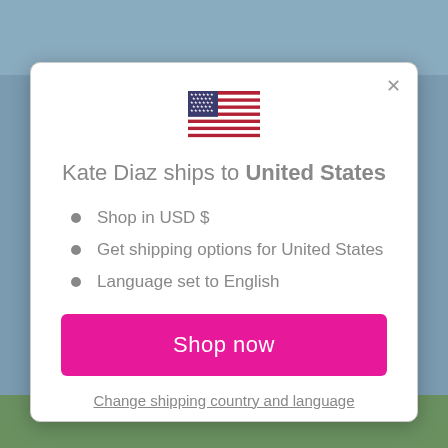[Figure (screenshot): Background image of a person outdoors with sky and foliage visible behind a modal dialog]
[Figure (illustration): US flag emoji/icon displayed at the center top of the modal]
Kate Diaz ships to United States
Shop in USD $
Get shipping options for United States
Language set to English
Shop now
Change shipping country and language